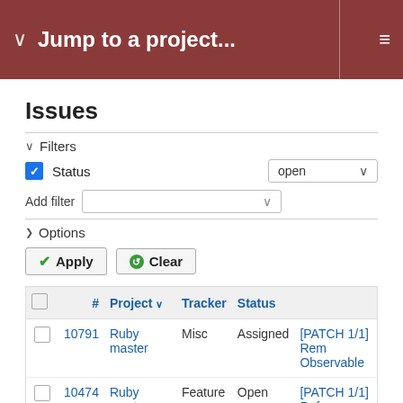Jump to a project...
Issues
Filters
Status  open
Add filter
Options
Apply   Clear
|  | # | Project | Tracker | Status |  |
| --- | --- | --- | --- | --- | --- |
|  | 10791 | Ruby master | Misc | Assigned | [PATCH 1/1] Rem... Observable |
|  | 10474 | Ruby master | Feature | Open | [PATCH 1/1] Refa... one macro) |
|  | 10318 | Ruby master | Feature | Open | [PATCH 0/n] Let u... binding obvious va |
|  | 10455 | Ruby master | Feature | Open | [PATCH 0/n] Com |